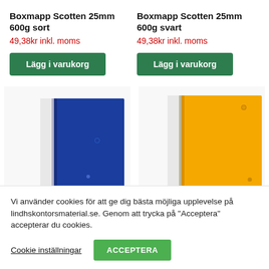Boxmapp Scotten 25mm 600g sort
49,38kr inkl. moms
Lägg i varukorg
Boxmapp Scotten 25mm 600g svart
49,38kr inkl. moms
Lägg i varukorg
[Figure (photo): Blue box folder (boxmapp) product image]
[Figure (photo): Yellow box folder (boxmapp) product image]
Vi använder cookies för att ge dig bästa möjliga upplevelse på lindhskontorsmaterial.se. Genom att trycka på "Acceptera" accepterar du cookies.
Cookie inställningar
ACCEPTERA